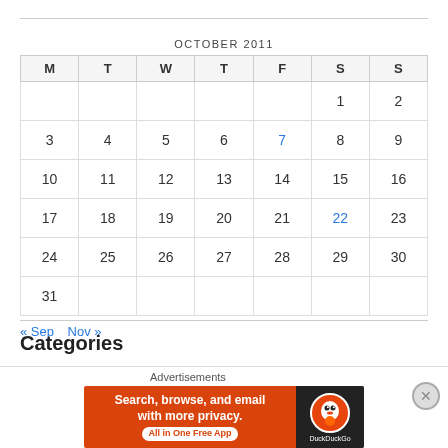| M | T | W | T | F | S | S |
| --- | --- | --- | --- | --- | --- | --- |
|  |  |  |  |  | 1 | 2 |
| 3 | 4 | 5 | 6 | 7 | 8 | 9 |
| 10 | 11 | 12 | 13 | 14 | 15 | 16 |
| 17 | 18 | 19 | 20 | 21 | 22 | 23 |
| 24 | 25 | 26 | 27 | 28 | 29 | 30 |
| 31 |  |  |  |  |  |  |
« Sep   Nov »
Categories
Bacon
Advertisements — Search, browse, and email with more privacy. All in One Free App — DuckDuckGo